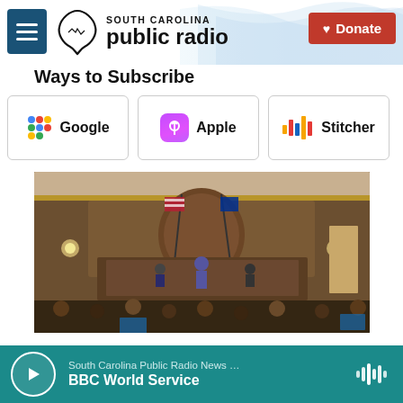South Carolina Public Radio — Donate
Ways to Subscribe
[Figure (other): Three podcast subscription buttons: Google, Apple, Stitcher]
[Figure (photo): Legislative chamber interior with officials at raised desk, American flag and South Carolina state flag crossed behind podium, audience of legislators in foreground]
South Carolina Public Radio News … BBC World Service